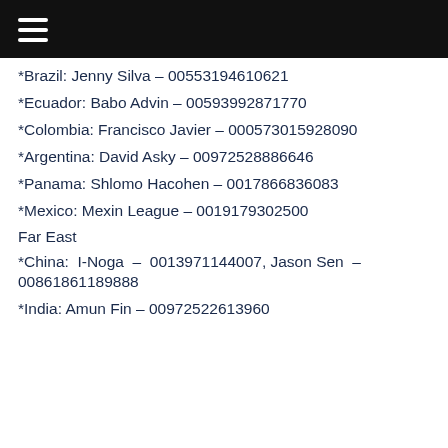≡
*Brazil: Jenny Silva – 00553194610621
*Ecuador: Babo Advin – 00593992871770
*Colombia: Francisco Javier – 000573015928090
*Argentina: David Asky – 00972528886646
*Panama: Shlomo Hacohen – 0017866836083
*Mexico: Mexin League – 0019179302500
Far East
*China: I-Noga – 0013971144007, Jason Sen – 00861861189888
*India: Amun Fin – 00972522613960